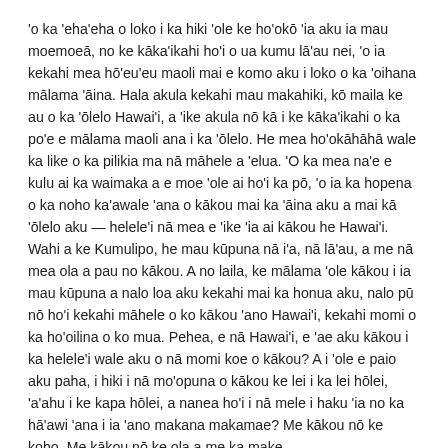'o ka 'eha'eha o loko i ka hiki 'ole ke ho'okō 'ia aku ia mau moemoeā, no ke kāka'ikahi ho'i o ua kumu lā'au nei, 'o ia kekahi mea hō'eu'eu maoli mai e komo aku i loko o ka 'oihana mālama 'āina. Hala akula kekahi mau makahiki, kō maila ke au o ka 'ōlelo Hawai'i, a 'ike akula nō kā i ke kāka'ikahi o ka po'e e mālama maoli ana i ka 'ōlelo. He mea ho'okāhāhā wale ka like o ka pilikia ma nā māhele a 'elua. 'O ka mea na'e e kulu ai ka waimaka a e moe 'ole ai ho'i ka pō, 'o ia ka hopena o ka noho ka'awale 'ana o kākou mai ka 'āina aku a mai kā 'ōlelo aku — helele'i nā mea e 'ike 'ia ai kākou he Hawai'i. Wahi a ke Kumulipo, he mau kūpuna nā i'a, nā lā'au, a me nā mea ola a pau no kākou. A no laila, ke mālama 'ole kākou i ia mau kūpuna a nalo loa aku kekahi mai ka honua aku, nalo pū nō ho'i kekahi māhele o ko kākou 'ano Hawai'i, kekahi momi o ka ho'oilina o ko mua. Pehea, e nā Hawai'i, e 'ae aku kākou i ka helele'i wale aku o nā momi koe o kākou? A i 'ole e paio aku paha, i hiki i nā mo'opuna o kākou ke lei i ka lei hōlei, 'a'ahu i ke kapa hōlei, a nanea ho'i i nā mele i haku 'ia no ka hā'awi 'ana i ia 'ano makana makamae? Me kākou nō ke koho. Me kākou nō ke ola a me ka make.
Haleakalā was once encircled by a massive, unbroken lei of forest,